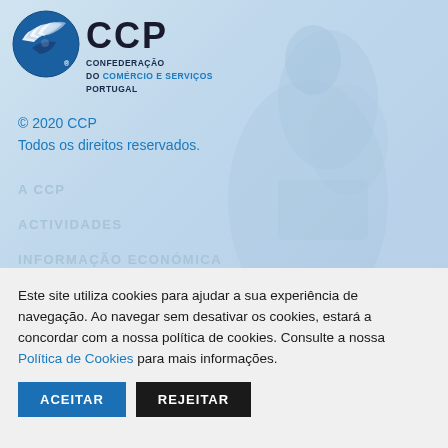[Figure (logo): CCP Confederação do Comércio e Serviços Portugal logo with bird emblem on blue background and 'CCP' text with organization name]
© 2020 CCP
Todos os direitos reservados.
A CCP
ACTIVIDADES
INFORMAÇÃO ECONÓMICA
ESTUDOS
Este site utiliza cookies para ajudar a sua experiência de navegação. Ao navegar sem desativar os cookies, estará a concordar com a nossa política de cookies. Consulte a nossa Política de Cookies para mais informações.
ACEITAR   REJEITAR